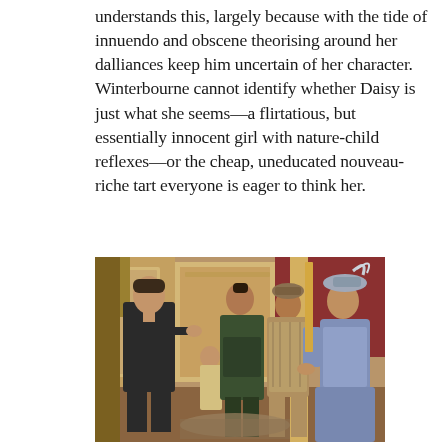understands this, largely because with the tide of innuendo and obscene theorising around her dalliances keep him uncertain of her character. Winterbourne cannot identify whether Daisy is just what she seems—a flirtatious, but essentially innocent girl with nature-child reflexes—or the cheap, uneducated nouveau-riche tart everyone is eager to think her.
[Figure (photo): A film still showing four figures in period costume in an ornate interior. On the left, a man in a dark suit gestures or speaks. In the center, two women in Victorian-era dresses stand listening. On the right, a woman in a light blue dress and feathered hat faces the group.]